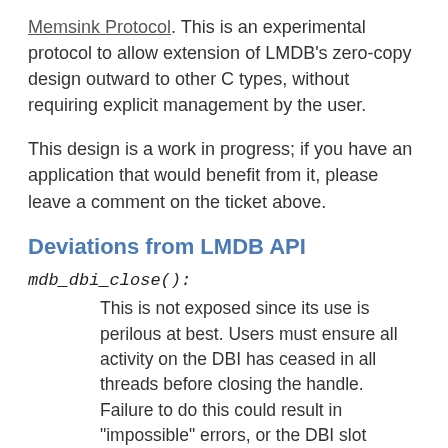Memsink Protocol. This is an experimental protocol to allow extension of LMDB's zero-copy design outward to other C types, without requiring explicit management by the user.
This design is a work in progress; if you have an application that would benefit from it, please leave a comment on the ticket above.
Deviations from LMDB API
mdb_dbi_close():
This is not exposed since its use is perilous at best. Users must ensure all activity on the DBI has ceased in all threads before closing the handle. Failure to do this could result in "impossible" errors, or the DBI slot becoming reused, resulting in operations being serviced by the wrong named database. Leaving handles open wastes a tiny amount of memory, which seems a good price to avoid subtle data corruption.